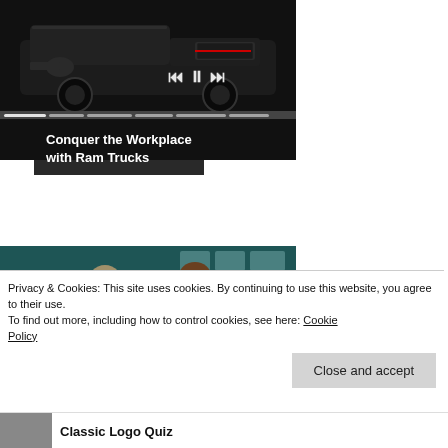[Figure (photo): Black Ram truck front-end view on dark background with media playback controls and progress bar]
Conquer the Workplace with Ram Trucks
[Figure (photo): Two people wearing sunglasses seated in a stadium or arena setting]
[Photos] Meet The Girlfriends Of The
Privacy & Cookies: This site uses cookies. By continuing to use this website, you agree to their use.
To find out more, including how to control cookies, see here: Cookie Policy
Close and accept
Classic Logo Quiz